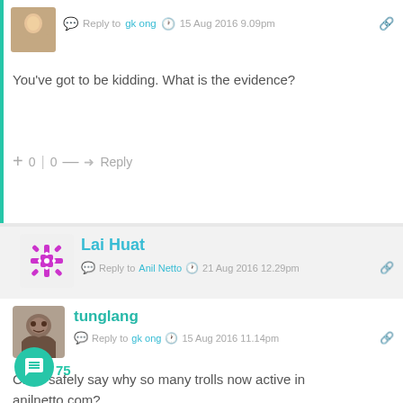Reply to gk ong  15 Aug 2016 9.09pm
You've got to be kidding. What is the evidence?
+ 0 | 0 —  Reply
Lai Huat  Reply to Anil Netto  21 Aug 2016 12.29pm
Evidence or not is no use.
Just look at 1MDB case.
+ 0 | 0 —  Reply
tunglang  Reply to gk ong  15 Aug 2016 11.14pm
Can I safely say why so many trolls now active in anilnetto,com?
May I also assume you are one of them wired?